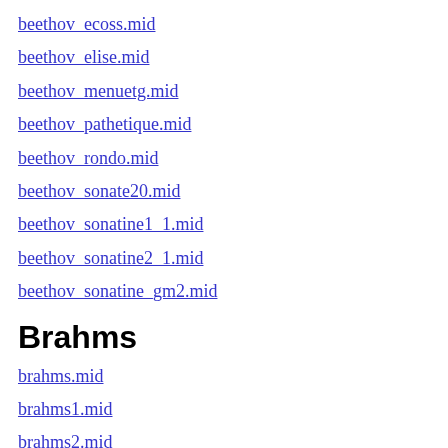beethov_ecoss.mid
beethov_elise.mid
beethov_menuetg.mid
beethov_pathetique.mid
beethov_rondo.mid
beethov_sonate20.mid
beethov_sonatine1_1.mid
beethov_sonatine2_1.mid
beethov_sonatine_gm2.mid
Brahms
brahms.mid
brahms1.mid
brahms2.mid